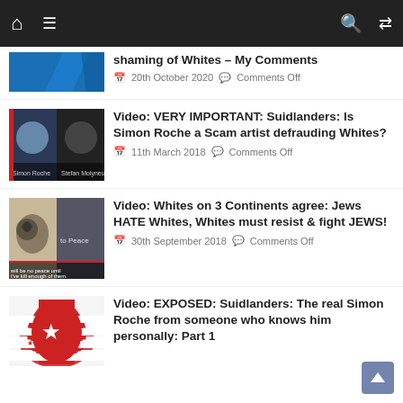[Figure (screenshot): Website navigation bar with home icon, hamburger menu, search and shuffle icons on dark background]
shaming of Whites – My Comments
20th October 2020 · Comments Off
Video: VERY IMPORTANT: Suidlanders: Is Simon Roche a Scam artist defrauding Whites?
11th March 2018 · Comments Off
Video: Whites on 3 Continents agree: Jews HATE Whites, Whites must resist & fight JEWS!
30th September 2018 · Comments Off
Video: EXPOSED: Suidlanders: The real Simon Roche from someone who knows him personally: Part 1